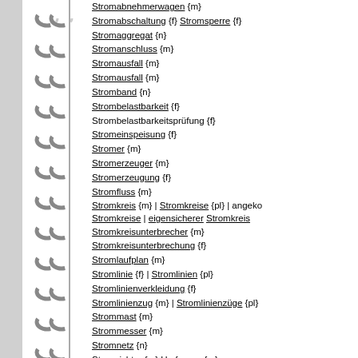Stromabnehmerwagen {m}
Stromabschaltung {f} Stromsperre {f}
Stromaggregat {n}
Stromanschluss {m}
Stromausfall {m}
Stromausfall {m}
Stromband {n}
Strombelastbarkeit {f}
Strombelastbarkeitsprüfung {f}
Stromeinspeisung {f}
Stromer {m}
Stromerzeuger {m}
Stromerzeugung {f}
Stromfluss {m}
Stromkreis {m} | Stromkreise {pl} | angekoppelte Stromkreise | eigensicherer Stromkreis
Stromkreisunterbrecher {m}
Stromkreisunterbrechung {f}
Stromlaufplan {m}
Stromlinie {f} | Stromlinien {pl}
Stromlinienverkleidung {f}
Stromlinienzug {m} | Stromlinienzüge {pl}
Strommast {m}
Strommesser {m}
Stromnetz {n}
Stromrichter {m} Umformer {m}
in Stromrichtung {f} [naut.]
Stromschiene {f}
Stromschiene {f} Stromschienen {f}